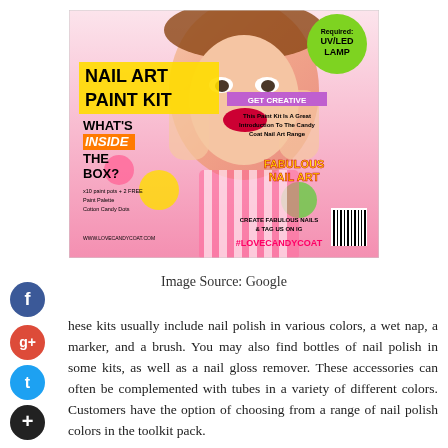[Figure (photo): Nail Art Paint Kit product advertisement image showing a woman with colorful nails, bold text overlays including 'NAIL ART PAINT KIT', 'WHAT'S INSIDE THE BOX?', 'GET CREATIVE', 'FABULOUS NAIL ART', '#LOVECANDYCOAT', and a green UV/LED LAMP required badge]
Image Source: Google
hese kits usually include nail polish in various colors, a wet nap, a marker, and a brush. You may also find bottles of nail polish in some kits, as well as a nail gloss remover. These accessories can often be complemented with tubes in a variety of different colors. Customers have the option of choosing from a range of nail polish colors in the toolkit pack.